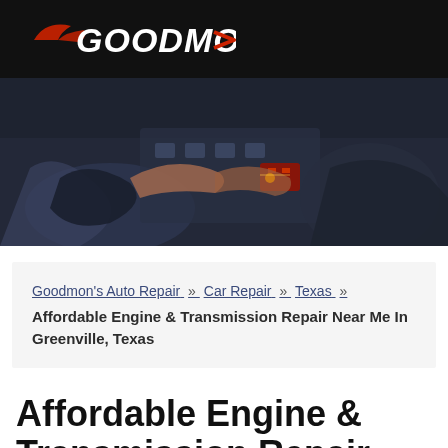[Figure (logo): Goodmons auto repair logo — white italic bold text with red car swoosh on black background]
[Figure (photo): Mechanic hands working on car engine in dark shop — hero banner image]
Goodmon's Auto Repair » Car Repair » Texas » Affordable Engine & Transmission Repair Near Me In Greenville, Texas
Affordable Engine & Transmission Repair Nea…